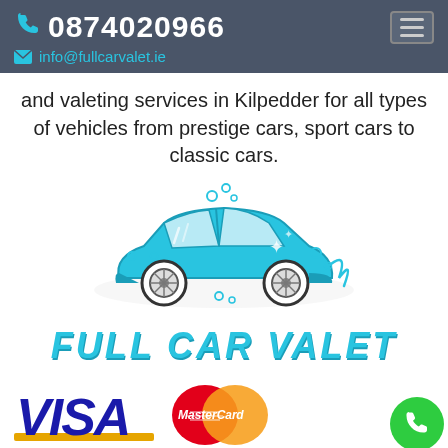0874020966 | info@fullcarvalet.ie
and valeting services in Kilpedder for all types of vehicles from prestige cars, sport cars to classic cars.
[Figure (illustration): Illustration of a blue car being washed with soap bubbles and sparkles, cartoon style]
FULL CAR VALET
[Figure (logo): VISA logo in blue and gold, Mastercard logo with overlapping red and orange circles, green phone call button]